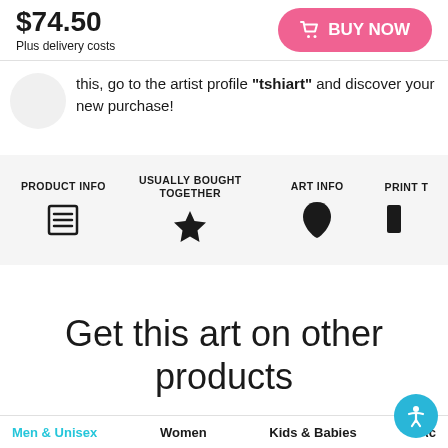$74.50
Plus delivery costs
BUY NOW
this, go to the artist profile "tshiart" and discover your new purchase!
PRODUCT INFO
USUALLY BOUGHT TOGETHER
ART INFO
PRINT T
Get this art on other products
Men & Unisex
Women
Kids & Babies
Ac